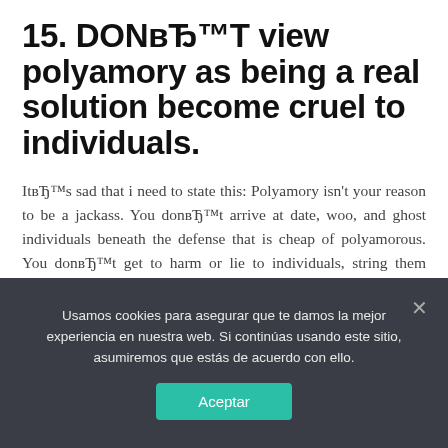15. DONвЂ™T view polyamory as being a real solution become cruel to individuals.
ItвЂ™s sad that i need to state this: Polyamory isn't your reason to be a jackass. You donвЂ™t arrive at date, woo, and ghost individuals beneath the defense that is cheap of polyamorous. You donвЂ™t get to harm or lie to individuals, string them along, or perhaps careless making use of their hearts and call it love. ThatвЂ™s not just exactly how this works.
Usamos cookies para asegurar que te damos la mejor experiencia en nuestra web. Si continúas usando este sitio, asumiremos que estás de acuerdo con ello.